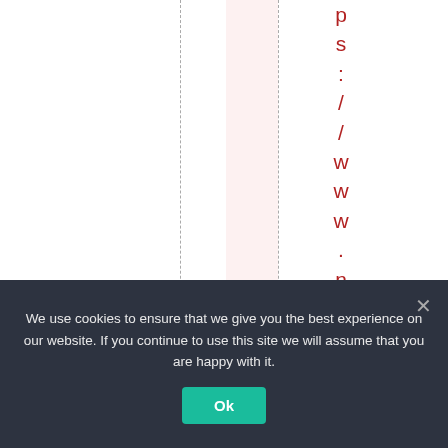[Figure (screenshot): Partial screenshot of a webpage showing vertical URL text 'ps://www.nasa.gov/' in dark red/maroon color on white background with dashed vertical grid lines and a pink highlighted column. A cookie consent banner overlays the bottom portion.]
We use cookies to ensure that we give you the best experience on our website. If you continue to use this site we will assume that you are happy with it.